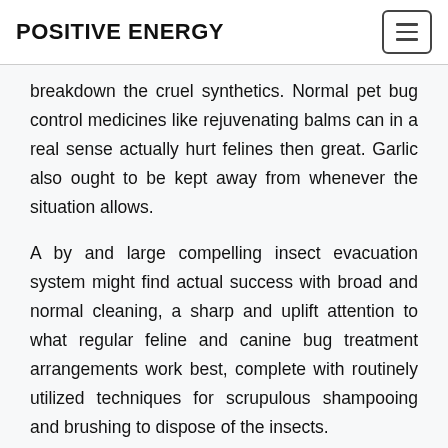POSITIVE ENERGY
breakdown the cruel synthetics. Normal pet bug control medicines like rejuvenating balms can in a real sense actually hurt felines then great. Garlic also ought to be kept away from whenever the situation allows.
A by and large compelling insect evacuation system might find actual success with broad and normal cleaning, a sharp and uplift attention to what regular feline and canine bug treatment arrangements work best, complete with routinely utilized techniques for scrupulous shampooing and brushing to dispose of the insects.